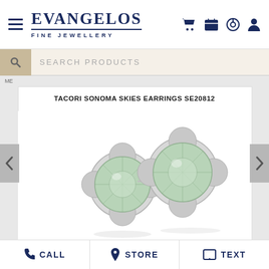EVANGELOS FINE JEWELLERY
SEARCH PRODUCTS
TACORI SONOMA SKIES EARRINGS SE20812
[Figure (photo): Two silver stud earrings with pale green gemstones set in a floral/swirl bezel setting, displayed on a white background with reflections.]
CALL  STORE  TEXT